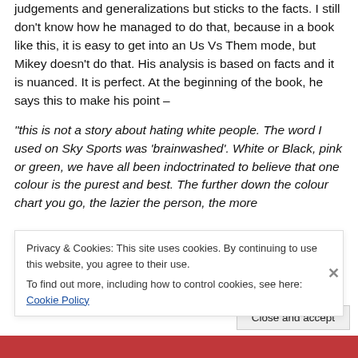judgements and generalizations but sticks to the facts. I still don't know how he managed to do that, because in a book like this, it is easy to get into an Us Vs Them mode, but Mikey doesn't do that. His analysis is based on facts and it is nuanced. It is perfect. At the beginning of the book, he says this to make his point –
“this is not a story about hating white people. The word I used on Sky Sports was ‘brainwashed’. White or Black, pink or green, we have all been indoctrinated to believe that one colour is the purest and best. The further down the colour chart you go, the lazier the person, the more
Privacy & Cookies: This site uses cookies. By continuing to use this website, you agree to their use.
To find out more, including how to control cookies, see here: Cookie Policy